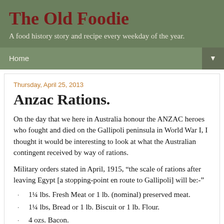The Old Foodie
A food history story and recipe every weekday of the year.
Home
Thursday, April 25, 2013
Anzac Rations.
On the day that we here in Australia honour the ANZAC heroes who fought and died on the Gallipoli peninsula in World War I, I thought it would be interesting to look at what the Australian contingent received by way of rations.
Military orders stated in April, 1915, “the scale of rations after leaving Egypt [a stopping-point en route to Gallipoli] will be:-”
1¼ lbs. Fresh Meat or 1 lb. (nominal) preserved meat.
1¼ lbs, Bread or 1 lb. Biscuit or 1 lb. Flour.
4 ozs. Bacon.